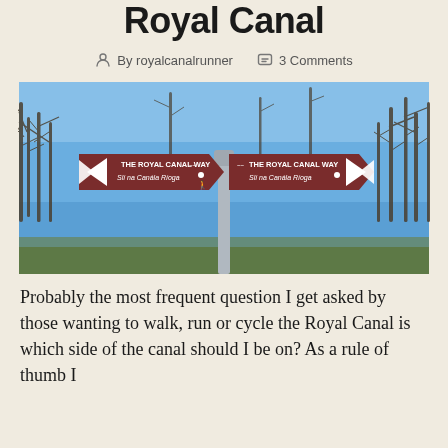Royal Canal
By royalcanalrunner   3 Comments
[Figure (photo): A Royal Canal Way directional sign on a metal post against a blue sky with bare trees. Two brown arrow signs point in opposite directions, both reading 'THE ROYAL CANAL WAY / Slí na Canála Ríoga' with a walking person icon.]
Probably the most frequent question I get asked by those wanting to walk, run or cycle the Royal Canal is which side of the canal should I be on? As a rule of thumb I